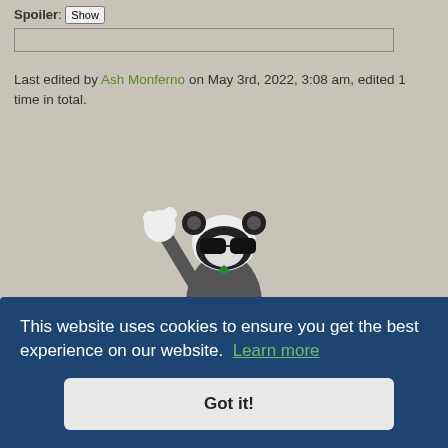Spoiler: Show
Last edited by Ash Monferno on May 3rd, 2022, 3:08 am, edited 1 time in total.
[Figure (illustration): Animated Pancham (panda Pokemon) character doing a dabbing pose, wearing sunglasses, dressed in dark clothing]
> > > Now just STOP! And give me your Pandas! I'm a Pancham's Master! < < <
This website uses cookies to ensure you get the best experience on our website. Learn more
Got it!